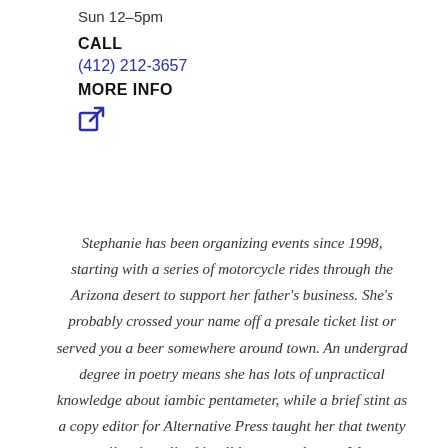Sun 12–5pm
CALL
(412) 212-3657
MORE INFO
[Figure (other): External link icon (square with arrow)]
Stephanie has been organizing events since 1998, starting with a series of motorcycle rides through the Arizona desert to support her father's business. She's probably crossed your name off a presale ticket list or served you a beer somewhere around town. An undergrad degree in poetry means she has lots of unpractical knowledge about iambic pentameter, while a brief stint as a copy editor for Alternative Press taught her that twenty one pilots is stylized in all lowercase letters. Wanna throw a party in a vacant parking lot? She's interested. At the onset of COVID